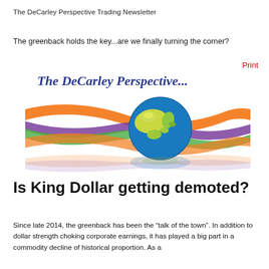The DeCarley Perspective Trading Newsletter
The greenback holds the key...are we finally turning the corner?
Print
[Figure (logo): The DeCarley Perspective logo with colorful ribbons (orange, purple, green) intertwined around a globe showing Earth with blue oceans and green/yellow landmasses, with a reflection below.]
Is King Dollar getting demoted?
Since late 2014, the greenback has been the “talk of the town”. In addition to dollar strength choking corporate earnings, it has played a big part in a commodity decline of historical proportion. As a